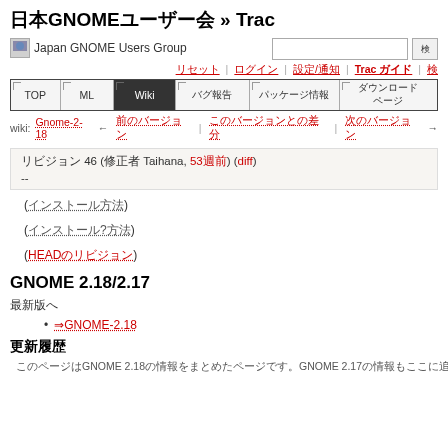日本GNOMEユーザー会 » Trac
[Figure (logo): Japan GNOME Users Group logo image]
リセット | ログイン | 設定/通知 | Trac ガイド | 検索
TOP | ML | Wiki | バグ報告 | パッケージ情報 | ダウンロードページ
wiki: Gnome-2-18 ← 前のバージョン | このバージョンとの差分 | 次のバージョン →
リビジョン 46 (修正者 Taihana, 53週前) (diff)
--
(インストール方法)
(インストール?方法)
(HEADのリビジョン)
GNOME 2.18/2.17
最新版へ
⇒GNOME-2.18
更新履歴
このページはGNOME 2.18の情報をまとめたページです。GNOME 2.17の情報もここに追記していきます。